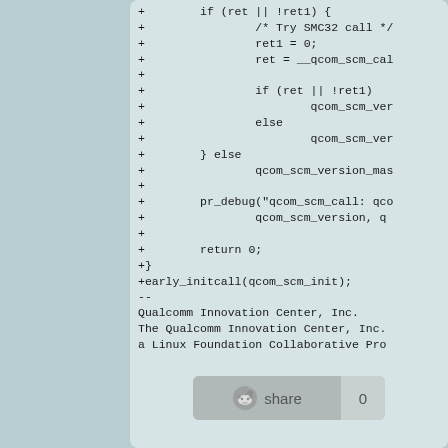[Figure (screenshot): Code diff screenshot showing C code additions with '+' markers, including if/else blocks, qcom_scm calls, pr_debug, return statement, closing brace, early_initcall, and Qualcomm Innovation Center attribution text, followed by a Reddit share button showing count 0.]